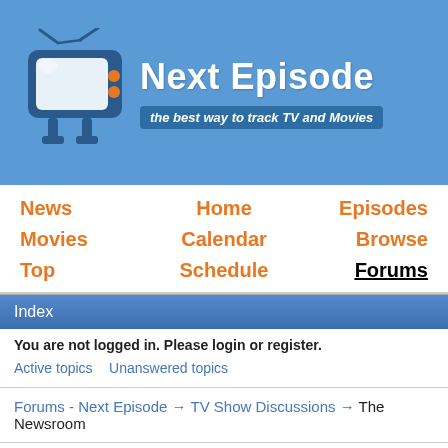[Figure (logo): Next Episode website logo with cartoon TV and site name]
News
Home
Episodes
Movies
Calendar
Browse
Top
Schedule
Forums
Index
You are not logged in. Please login or register.
Active topics   Unanswered topics
Forums - Next Episode → TV Show Discussions → The Newsroom
Pages  1  2  3  ...  9  Next
You must login or register to post a reply
RSS topic feed
Posts: 1 to 25 of 208